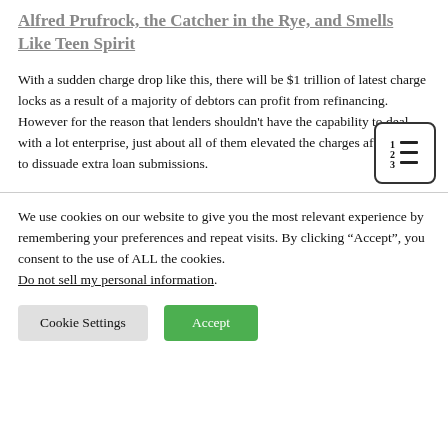Alfred Prufrock, the Catcher in the Rye, and Smells Like Teen Spirit
With a sudden charge drop like this, there will be $1 trillion of latest charge locks as a result of a majority of debtors can profit from refinancing. However for the reason that lenders shouldn't have the capability to deal with a lot enterprise, just about all of them elevated the charges after 2 days to dissuade extra loan submissions.
We use cookies on our website to give you the most relevant experience by remembering your preferences and repeat visits. By clicking “Accept”, you consent to the use of ALL the cookies.
Do not sell my personal information.